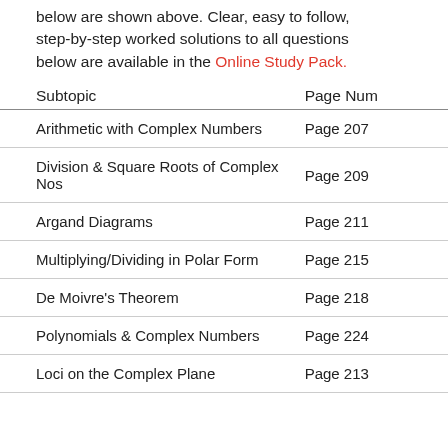below are shown above. Clear, easy to follow, step-by-step worked solutions to all questions below are available in the Online Study Pack.
| Subtopic | Page Num |
| --- | --- |
| Arithmetic with Complex Numbers | Page 207 |
| Division & Square Roots of Complex Nos | Page 209 |
| Argand Diagrams | Page 211 |
| Multiplying/Dividing in Polar Form | Page 215 |
| De Moivre's Theorem | Page 218 |
| Polynomials & Complex Numbers | Page 224 |
| Loci on the Complex Plane | Page 213 |